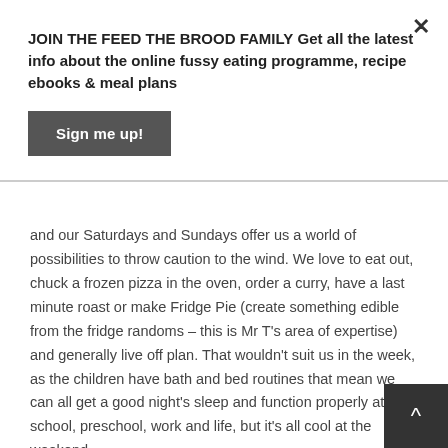JOIN THE FEED THE BROOD FAMILY Get all the latest info about the online fussy eating programme, recipe ebooks & meal plans
Sign me up!
and our Saturdays and Sundays offer us a world of possibilities to throw caution to the wind. We love to eat out, chuck a frozen pizza in the oven, order a curry, have a last minute roast or make Fridge Pie (create something edible from the fridge randoms – this is Mr T's area of expertise) and generally live off plan. That wouldn't suit us in the week, as the children have bath and bed routines that mean we can all get a good night's sleep and function properly at school, preschool, work and life, but it's all cool at the weekend.